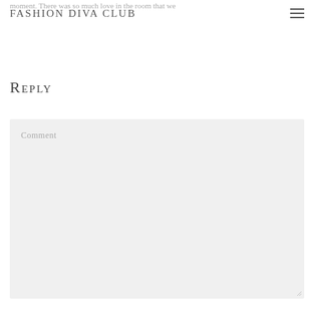moment. There was so much love in the room that we
Fashion Diva Club
Reply
Comment